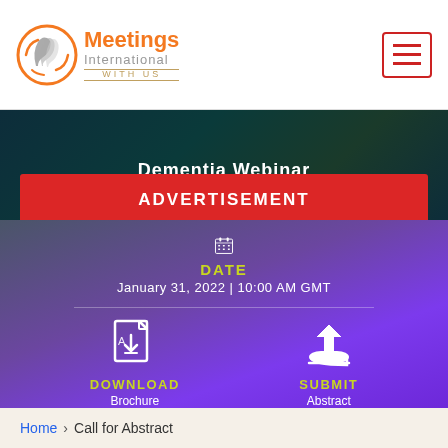[Figure (logo): Meetings International logo with orange circle graphic and orange/grey text]
Dementia Webinar
ADVERTISEMENT
[Figure (infographic): Calendar icon with date section showing January 31, 2022 | 10:00 AM GMT, and download/submit icons below]
DATE
January 31, 2022 | 10:00 AM GMT
DOWNLOAD
Brochure
SUBMIT
Abstract
Home › Call for Abstract